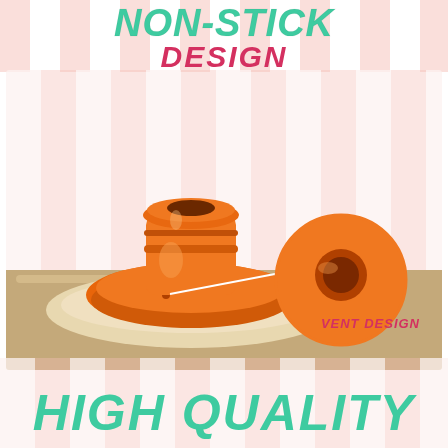NON-STICK DESIGN
[Figure (photo): Orange non-stick donut/bagel shaping tool sitting on beige dough on a wooden cutting board. A circular callout zooms in on the vent hole at the base of the tool, with a line connecting the hole to the circle.]
VENT DESIGN
HIGH QUALITY